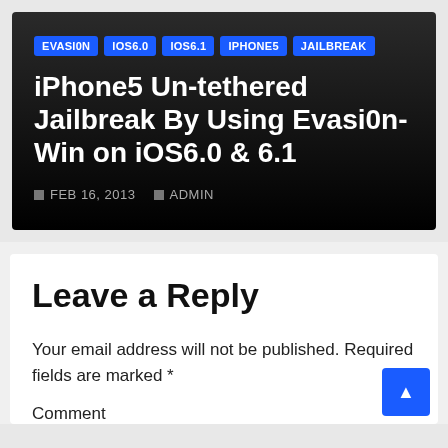EVASI0N  IOS6.0  IOS6.1  IPHONE5  JAILBREAK
iPhone5 Un-tethered Jailbreak By Using Evasi0n-Win on iOS6.0 & 6.1
FEB 16, 2013  ADMIN
Leave a Reply
Your email address will not be published. Required fields are marked *
Comment